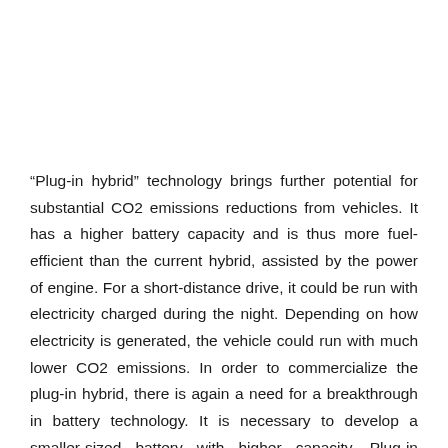“Plug-in hybrid” technology brings further potential for substantial CO2 emissions reductions from vehicles. It has a higher battery capacity and is thus more fuel-efficient than the current hybrid, assisted by the power of engine. For a short-distance drive, it could be run with electricity charged during the night. Depending on how electricity is generated, the vehicle could run with much lower CO2 emissions. In order to commercialize the plug-in hybrid, there is again a need for a breakthrough in battery technology. It is necessary to develop a smaller-sized battery with higher capacity. Plug-in hybrids could